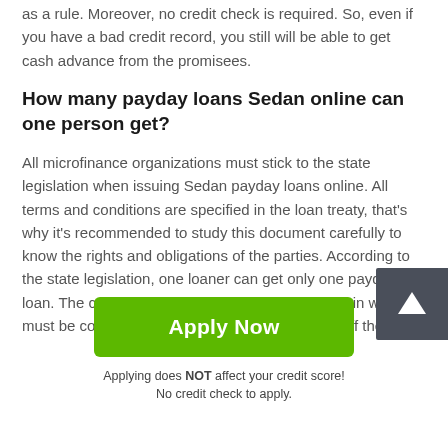as a rule. Moreover, no credit check is required. So, even if you have a bad credit record, you still will be able to get cash advance from the promisees.
How many payday loans Sedan online can one person get?
All microfinance organizations must stick to the state legislation when issuing Sedan payday loans online. All terms and conditions are specified in the loan treaty, that's why it's recommended to study this document carefully to know the rights and obligations of the parties. According to the state legislation, one loaner can get only one payday loan. The credit is issued for a specific period within which it must be covered. If a loaner weren't able to pay off the
[Figure (other): Green 'Apply Now' button and note text below it saying 'Applying does NOT affect your credit score! No credit check to apply.']
Applying does NOT affect your credit score!
No credit check to apply.